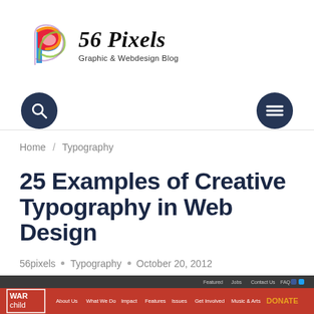[Figure (logo): 56 Pixels Graphic & Webdesign Blog logo with colorful swirl icon and italic bold text]
[Figure (illustration): Navigation bar with dark navy search icon (magnifying glass) on left and hamburger menu icon on right]
Home / Typography
25 Examples of Creative Typography in Web Design
56pixels • Typography • October 20, 2012
[Figure (screenshot): Screenshot of War Child website with dark header, red navigation bar showing WAR child logo, About Us, What We Do, Impact, Features, Issues, Get Involved, Music & Arts navigation links and DONATE button]